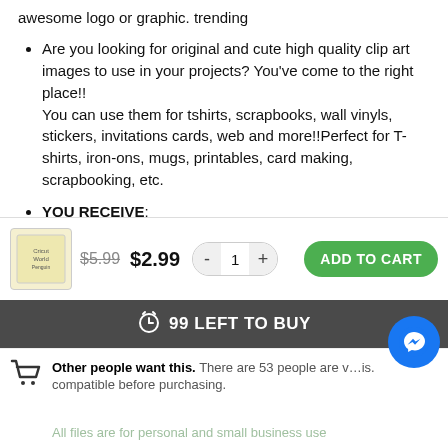awesome logo or graphic. trending
Are you looking for original and cute high quality clip art images to use in your projects? You've come to the right place!! You can use them for tshirts, scrapbooks, wall vinyls, stickers, invitations cards, web and more!!Perfect for T-shirts, iron-ons, mugs, printables, card making, scrapbooking, etc.
YOU RECEIVE: • 1 zip-file containing 1 SVG file, 1 PNG file (transparent background), 1 DXF file and 1 EPS
$5.99 $2.99 - 1 + ADD TO CART
99 LEFT TO BUY
Other people people want this. There are 53 people are viewing this. compatible before purchasing.
All files are for personal and small business use